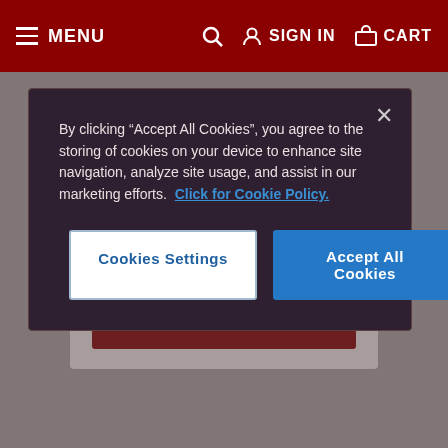≡ MENU   🔍   👤 SIGN IN   🛒 CART
By clicking "Accept All Cookies", you agree to the storing of cookies on your device to enhance site navigation, analyze site usage, and assist in our marketing efforts.  Click for Cookie Policy.
Cookies Settings
Accept All Cookies
€1.00
BUY NOW